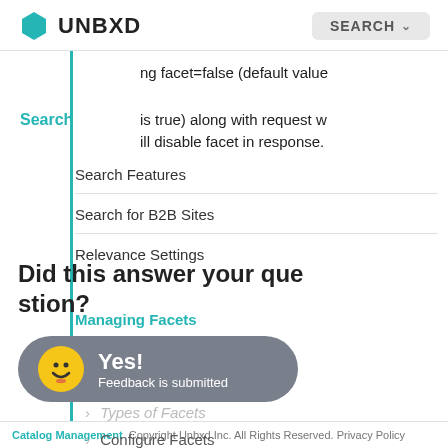UNBXD — SEARCH
ng facet=false (default value is true) along with request will disable facet in response.
Search
Search Features
Search for B2B Sites
Relevance Settings
Did this answer your question?
Managing Facets
[Figure (screenshot): Yes! Feedback is submitted popup with smiley emoji on dark background]
Types of Facets
Configure Facets
Copyright Unbxd Inc. All Rights Reserved. Privacy Policy / Catalog Management